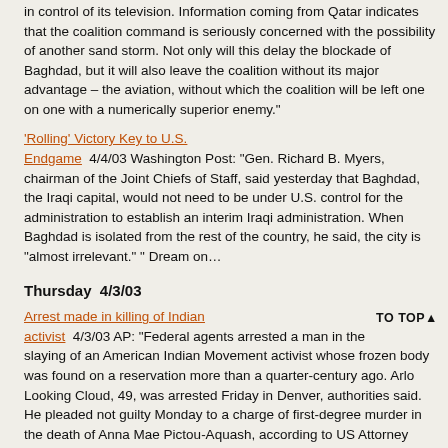in control of its television. Information coming from Qatar indicates that the coalition command is seriously concerned with the possibility of another sand storm. Not only will this delay the blockade of Baghdad, but it will also leave the coalition without its major advantage – the aviation, without which the coalition will be left one on one with a numerically superior enemy."
'Rolling' Victory Key to U.S. Endgame  4/4/03 Washington Post: "Gen. Richard B. Myers, chairman of the Joint Chiefs of Staff, said yesterday that Baghdad, the Iraqi capital, would not need to be under U.S. control for the administration to establish an interim Iraqi administration. When Baghdad is isolated from the rest of the country, he said, the city is "almost irrelevant." " Dream on…
Thursday  4/3/03
Arrest made in killing of Indian activist  4/3/03 AP: "Federal agents arrested a man in the slaying of an American Indian Movement activist whose frozen body was found on a reservation more than a quarter-century ago. Arlo Looking Cloud, 49, was arrested Friday in Denver, authorities said. He pleaded not guilty Monday to a charge of first-degree murder in the death of Anna Mae Pictou-Aquash, according to US Attorney James McMahon."
Detecting disinformation, without radar  4/3/03 Asia